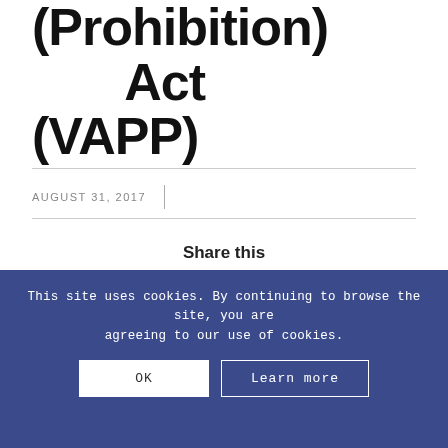Persons (Prohibition) Act (VAPP)
AUGUST 31, 2017
Share this
[Figure (other): Social share icons: Facebook, Twitter, LinkedIn, Email]
This site uses cookies. By continuing to browse the site, you are agreeing to our use of cookies.
OK
Learn more